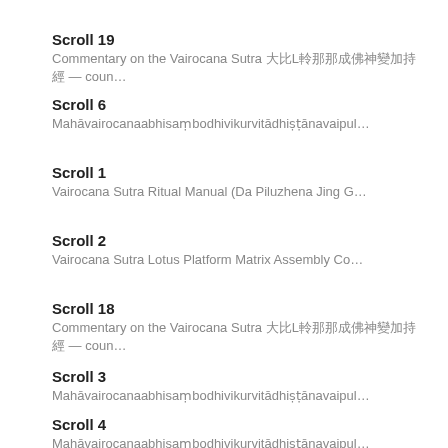Scroll 19
Commentary on the Vairocana Sutra 大毘盧遮那成佛神變加持經 — coun…
Scroll 6
Mahāvairocanaabhisaṃbodhivikurvitādhiṣṭānavaipul…
Scroll 1
Vairocana Sutra Ritual Manual (Da Piluzhena Jing G…
Scroll 2
Vairocana Sutra Lotus Platform Matrix Assembly Co…
Scroll 18
Commentary on the Vairocana Sutra 大毘盧遮那成佛神變加持經 — coun…
Scroll 3
Mahāvairocanaabhisaṃbodhivikurvitādhiṣṭānavaipul…
Scroll 4
Mahāvairocanaabhisaṃbodhivikurvitādhiṣṭānavaipul…